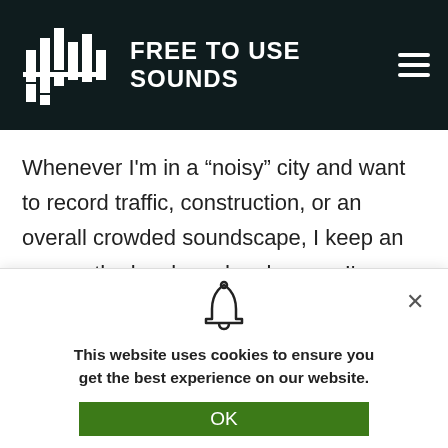FREE TO USE SOUNDS
Whenever I'm in a “noisy” city and want to record traffic, construction, or an overall crowded soundscape, I keep an eye on the levels and make sure I'm always around -12dB on the top.
[Figure (screenshot): Partial image strip of a photo, partially visible at the bottom of the content area]
[Figure (infographic): Cookie consent popup with bell icon, text, close button, and OK button]
This website uses cookies to ensure you get the best experience on our website.